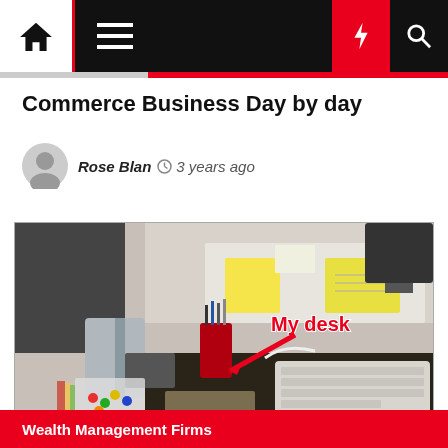Navigation bar with home, menu, moon, lightning, search icons
Commerce Business Day by day
Rose Blan  3 years ago
[Figure (photo): Photo of an office desk with a keyboard, pen holder with pens, sticky notes on a cubicle shelf, candy in a container, and a red arrow pointing to the desk area with text 'My desk' in red.]
Wealth Management Firms